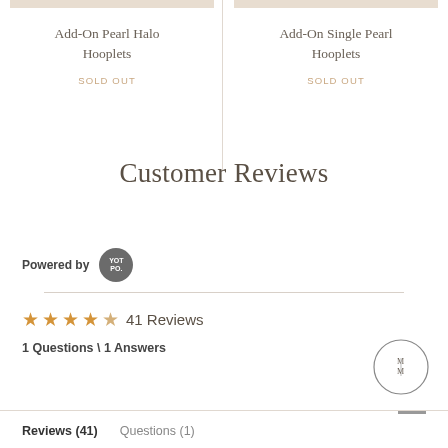Add-On Pearl Halo Hooplets
SOLD OUT
Add-On Single Pearl Hooplets
SOLD OUT
Customer Reviews
Powered by YOTPO.
41 Reviews
1 Questions \ 1 Answers
Reviews (41)   Questions (1)